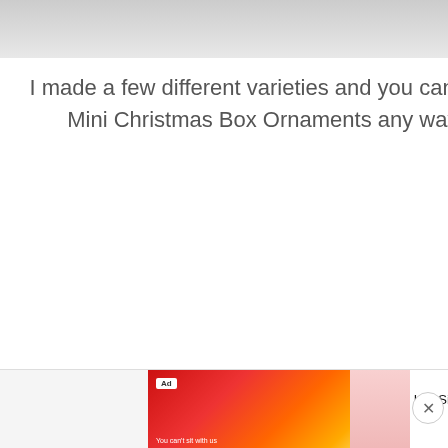[Figure (photo): Top portion of a blog page showing a partially visible photo with light gray/white tones at the top]
I made a few different varieties and you can customize the Mini Christmas Box Ornaments any way you want.
SUBSCRIBE
SEARCH THIS BLOG
Search
ARCHIVES
Select
[Figure (screenshot): Ad banner at the bottom: BitLife - Life Simulator app advertisement with red/orange graphic and Install button]